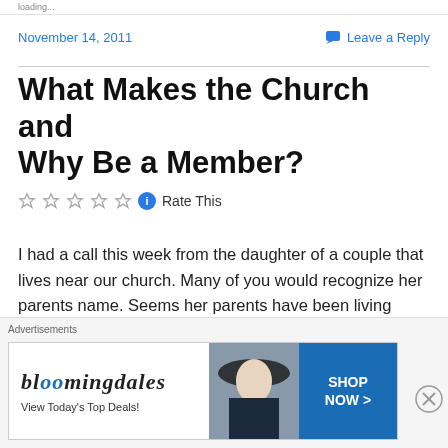loading...
November 14, 2011
Leave a Reply
What Makes the Church and Why Be a Member?
Rate This
I had a call this week from the daughter of a couple that lives near our church. Many of you would recognize her parents name. Seems her parents have been living together the last 20 years or so and never got married
[Figure (other): Bloomingdale's advertisement banner: 'View Today's Top Deals!' with 'SHOP NOW >' button and image of woman with hat]